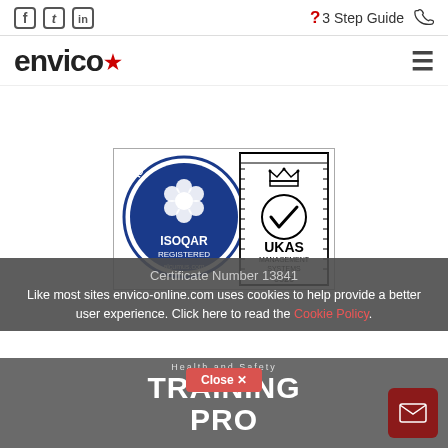Social icons: Facebook, Twitter, LinkedIn | ?3 Step Guide | Phone
[Figure (logo): Envico logo with star in top-right of logo text]
[Figure (illustration): ISO 9001 ISOQAR Registered badge (blue circular logo with flower) combined with UKAS Management Systems 0026 certificate badge. Certificate Number 13841.]
Certificate Number 13841
Like most sites envico-online.com uses cookies to help provide a better user experience. Click here to read the Cookie Policy.
[Figure (screenshot): Partially visible banner showing 'Health and Safety TRAINING PRO... OF THE YEAR' with a figure silhouette]
Close ✕